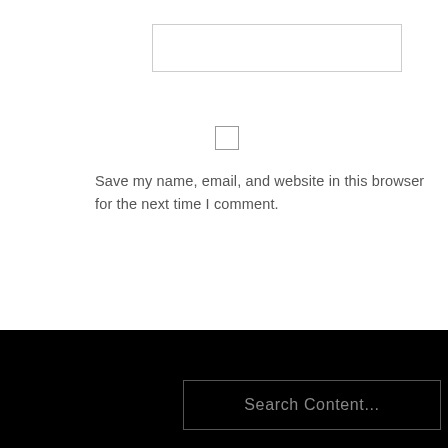[Figure (screenshot): A text input field (empty, white background, gray border) at top left of the form section.]
[Figure (screenshot): A checkbox (unchecked, square with gray border) centered in the form section.]
Save my name, email, and website in this browser for the next time I comment.
[Figure (screenshot): A POST COMMENT button with green border and green uppercase text on white background.]
This site uses Akismet to reduce spam. Learn how your comment data is processed.
[Figure (screenshot): A search input field with placeholder text 'Search Content...' on black background at the bottom of the page.]